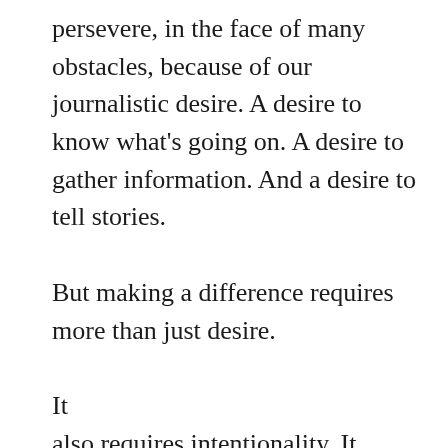persevere, in the face of many obstacles, because of our journalistic desire. A desire to know what's going on. A desire to gather information. And a desire to tell stories.

But making a difference requires more than just desire.

It
also requires intentionality. It means more than wanting. It means following through and making things